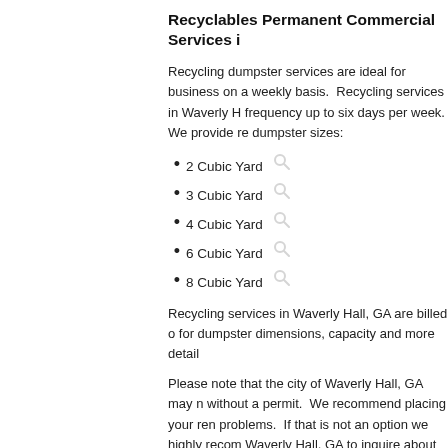Recyclables Permanent Commercial Services i...
Recycling dumpster services are ideal for business... on a weekly basis. Recycling services in Waverly H... frequency up to six days per week. We provide rec... dumpster sizes:
2 Cubic Yard
3 Cubic Yard
4 Cubic Yard
6 Cubic Yard
8 Cubic Yard
Recycling services in Waverly Hall, GA are billed o... for dumpster dimensions, capacity and more detail...
Please note that the city of Waverly Hall, GA may n... without a permit. We recommend placing your ren... problems. If that is not an option we highly recom... Waverly Hall, GA to inquire about permit requiremen... without a permit may be required to be removed w...
Our goal is to streamline and simplify the dumpste... have achieved this goal by combining the ease an... industry. We accept all major credit cards enabling... enter your zip code, select the appropriate dumps...